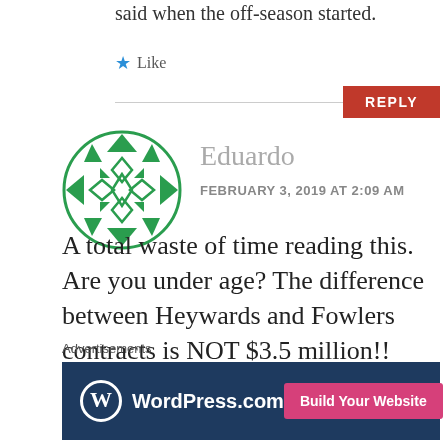said when the off-season started.
★ Like
REPLY
[Figure (logo): Circular green geometric avatar icon for user Eduardo]
Eduardo
FEBRUARY 3, 2019 AT 2:09 AM
A total waste of time reading this. Are you under age? The difference between Heywards and Fowlers contracts is NOT $3.5 million!! That is an impossible trade! And Some-
Advertisements
[Figure (screenshot): WordPress.com advertisement banner with Build Your Website button on dark blue background]